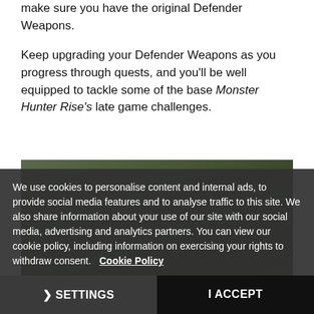make sure you have the original Defender Weapons.

Keep upgrading your Defender Weapons as you progress through quests, and you'll be well equipped to tackle some of the base Monster Hunter Rise's late game challenges.
[Figure (photo): Dark screenshot from Monster Hunter Rise game showing characters in a forested/outdoor environment]
We use cookies to personalise content and internal ads, to provide social media features and to analyse traffic to this site. We also share information about your use of our site with our social media, advertising and analytics partners. You can view our cookie policy, including information on exercising your rights to withdraw consent. Cookie Policy
❯ SETTINGS   I ACCEPT